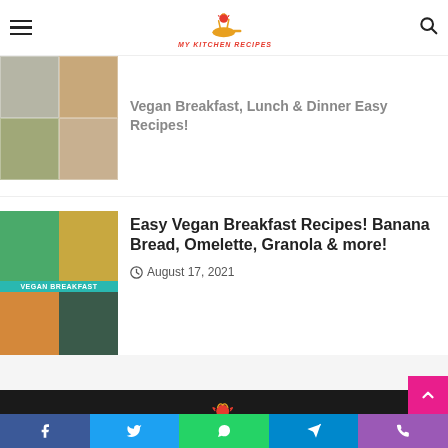My Kitchen Recipes
Vegan Breakfast, Lunch & Dinner Easy Recipes!
[Figure (photo): Grid of food images for vegan breakfast article thumbnail]
Easy Vegan Breakfast Recipes! Banana Bread, Omelette, Granola & more!
August 17, 2021
[Figure (logo): My Kitchen Recipes logo - large version in dark footer with golden pan and red tomato/vegetables]
Social media links: Facebook, Twitter, WhatsApp, Telegram, Phone